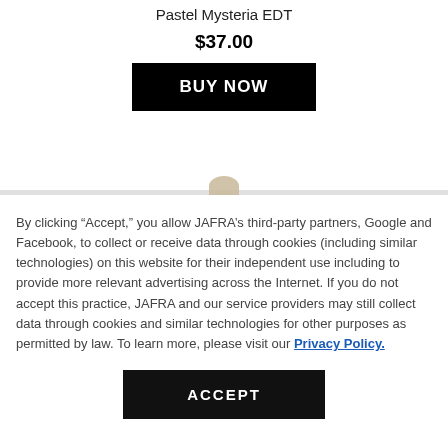Pastel Mysteria EDT
$37.00
BUY NOW
By clicking “Accept,” you allow JAFRA’s third-party partners, Google and Facebook, to collect or receive data through cookies (including similar technologies) on this website for their independent use including to provide more relevant advertising across the Internet. If you do not accept this practice, JAFRA and our service providers may still collect data through cookies and similar technologies for other purposes as permitted by law. To learn more, please visit our Privacy Policy.
ACCEPT